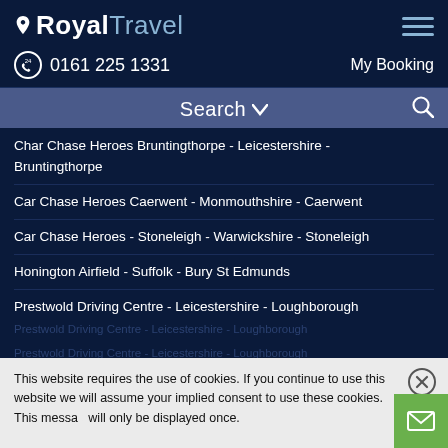Royal Travel - 0161 225 1331 - My Booking
Search
Char Chase Heroes Bruntingthorpe - Leicestershire - Bruntingthorpe
Car Chase Heroes Caerwent - Monmouthshire - Caerwent
Car Chase Heroes - Stoneleigh - Warwickshire - Stoneleigh
Honington Airfield - Suffolk - Bury St Edmunds
Prestwold Driving Centre - Leicestershire - Loughborough
Yorkshire Air Museum - North Yorkshire - Elvington
Dunsfold Aerodrome - Surrey - Dunsfold
Lydden Hill Circuit - Kent - Canterbury
Mallory Park Circuit - Leicestershire - Leicester
This website requires the use of cookies. If you continue to use this website we will assume your implied consent to use these cookies. This message will only be displayed once.